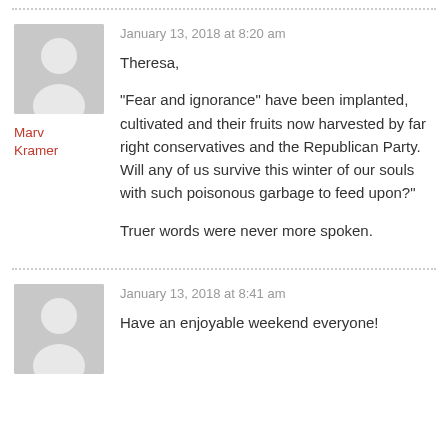[Figure (illustration): Gray silhouette avatar placeholder image of a person]
Marv Kramer
January 13, 2018 at 8:20 am
Theresa,
“Fear and ignorance” have been implanted, cultivated and their fruits now harvested by far right conservatives and the Republican Party. Will any of us survive this winter of our souls with such poisonous garbage to feed upon?”
Truer words were never more spoken.
[Figure (illustration): Gray silhouette avatar placeholder image of a person]
January 13, 2018 at 8:41 am
Have an enjoyable weekend everyone!